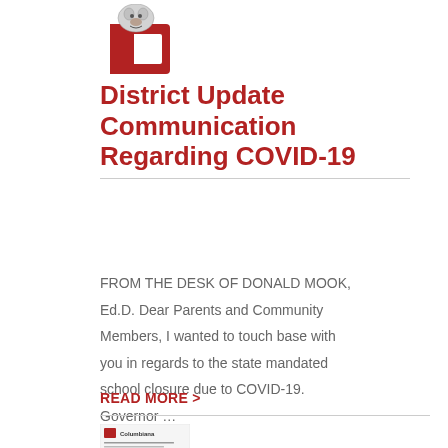[Figure (logo): School mascot logo - a bulldog wearing a red C letter]
District Update Communication Regarding COVID-19
FROM THE DESK OF DONALD MOOK, Ed.D. Dear Parents and Community Members, I wanted to touch base with you in regards to the state mandated school closure due to COVID-19. Governor ...
READ MORE >
[Figure (screenshot): Thumbnail image of a document letter with school logo and text content]